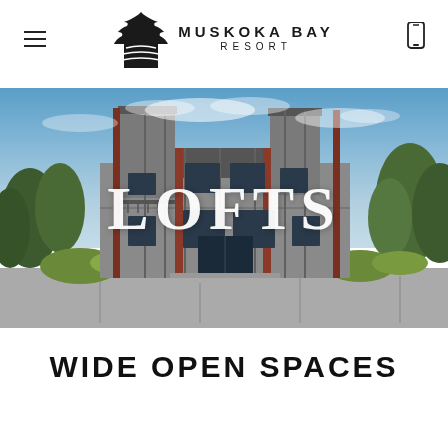MUSKOKA BAY RESORT
[Figure (photo): Exterior photograph of a modern multi-story resort loft building with grey vertical siding, two chimneys/towers, large windows, and landscaping in front, under a blue sky. The word LOFTS is overlaid in large white serif text across the center of the image.]
WIDE OPEN SPACES